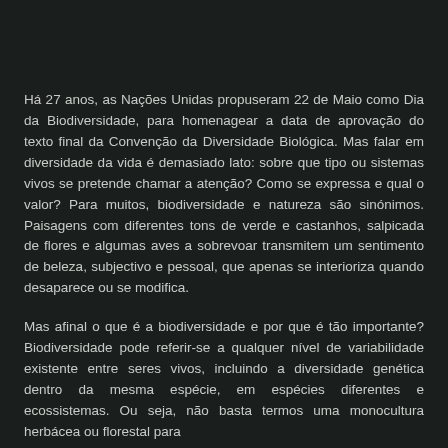Há 27 anos, as Nações Unidas propuseram 22 de Maio como Dia da Biodiversidade, para homenagear a data de aprovação do texto final da Convenção da Diversidade Biológica. Mas falar em diversidade da vida é demasiado lato: sobre que tipo ou sistemas vivos se pretende chamar a atenção? Como se expressa e qual o valor? Para muitos, biodiversidade e natureza são sinónimos. Paisagens com diferentes tons de verde e castanhos, salpicada de flores e algumas aves a sobrevoar transmitem um sentimento de beleza, subjectivo e pessoal, que apenas se interioriza quando desaparece ou se modifica.
Mas afinal o que é a biodiversidade e por que é tão importante? Biodiversidade pode referir-se a qualquer nível de variabilidade existente entre seres vivos, incluindo a diversidade genética dentro da mesma espécie, em espécies diferentes e ecossistemas. Ou seja, não basta termos uma monocultura herbácea ou florestal para